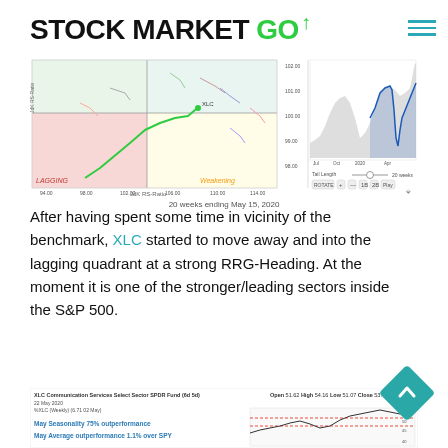STOCK MARKET GO
[Figure (other): RRG (Relative Rotation Graph) chart showing XLC sector movement across quadrants (Lagging, Weakening, Leading, Improving) over 20 weeks ending May 15, 2020, alongside a price chart of XLC with volume.]
20 weeks ending May 15, 2020
After having spent some time in vicinity of the benchmark, XLC started to move away and into the lagging quadrant at a strong RRG-Heading. At the moment it is one of the stronger/leading sectors inside the S&P 500.
[Figure (other): XLC Communication Services Select Sector SPDR Fund weekly price chart with May Seasonality 75% outperformance and May Average outperformance 1.1% over SPY annotations.]